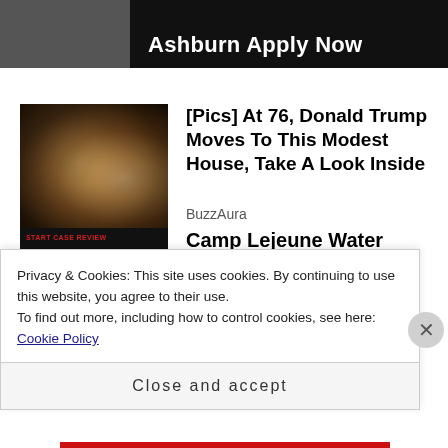[Figure (screenshot): Dark banner ad at top showing 'Ashburn Apply Now' text in white on dark background]
[Figure (photo): Thumbnail photo of Donald Trump and a woman in formal attire on dark background]
[Pics] At 76, Donald Trump Moves To This Modest House, Take A Look Inside
BuzzAura
[Figure (photo): Dark thumbnail image showing Camp Lejeune Toxic Water Lawsuit promotional graphic with eagle emblem and yellow text]
Camp Lejeune Water Contamination Claims
TruLaw
Privacy & Cookies: This site uses cookies. By continuing to use this website, you agree to their use.
To find out more, including how to control cookies, see here: Cookie Policy
Close and accept